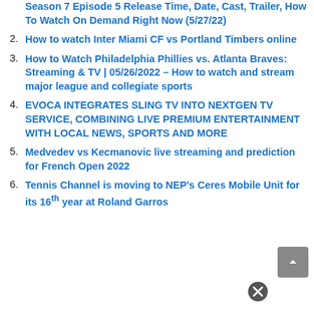Season 7 Episode 5 Release Time, Date, Cast, Trailer, How To Watch On Demand Right Now (5/27/22)
2. How to watch Inter Miami CF vs Portland Timbers online
3. How to Watch Philadelphia Phillies vs. Atlanta Braves: Streaming & TV | 05/26/2022 – How to watch and stream major league and collegiate sports
4. EVOCA INTEGRATES SLING TV INTO NEXTGEN TV SERVICE, COMBINING LIVE PREMIUM ENTERTAINMENT WITH LOCAL NEWS, SPORTS AND MORE
5. Medvedev vs Kecmanovic live streaming and prediction for French Open 2022
6. Tennis Channel is moving to NEP's Ceres Mobile Unit for its 16th year at Roland Garros